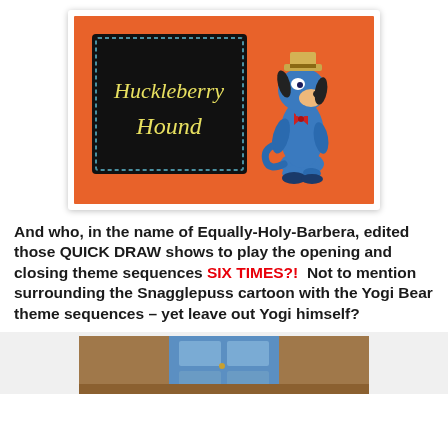[Figure (illustration): Huckleberry Hound cartoon title card on orange background with black chalkboard sign reading 'Huckleberry Hound' in yellow script, and a blue cartoon dog wearing a hat and bow tie standing to the right.]
And who, in the name of Equally-Holy-Barbera, edited those QUICK DRAW shows to play the opening and closing theme sequences SIX TIMES?!  Not to mention surrounding the Snagglepuss cartoon with the Yogi Bear theme sequences – yet leave out Yogi himself?
[Figure (screenshot): Partial view of another cartoon screenshot at the bottom of the page, showing a door or entryway scene.]